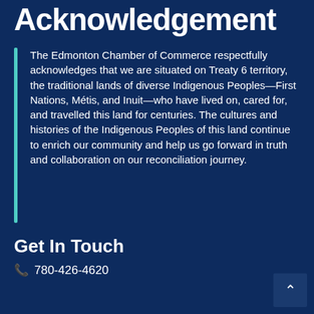Acknowledgement
The Edmonton Chamber of Commerce respectfully acknowledges that we are situated on Treaty 6 territory, the traditional lands of diverse Indigenous Peoples—First Nations, Métis, and Inuit—who have lived on, cared for, and travelled this land for centuries. The cultures and histories of the Indigenous Peoples of this land continue to enrich our community and help us go forward in truth and collaboration on our reconciliation journey.
Get In Touch
780-426-4620